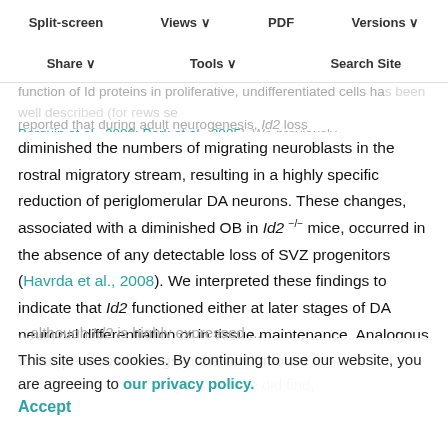Split-screen | Views | PDF | Versions | Share | Tools | Search Site
function of Id proteins in proliferative, undifferentiated cells has been well described (for reviews see Bhattacharya and Bhattacharya, 2000; Bhattacharya and Bhattacharya, 2005). We previously reported that during adult neurogenesis, Id2 loss diminished the numbers of migrating neuroblasts in the rostral migratory stream, resulting in a highly specific reduction of periglomerular DA neurons. These changes, associated with a diminished OB in Id2−/− mice, occurred in the absence of any detectable loss of SVZ progenitors (Havrda et al., 2008). We interpreted these findings to indicate that Id2 functioned either at later stages of DA neuronal differentiation or in tissue maintenance. Analogous to our previous findings in the adult mouse ...although Id2 is highly expressed ...defects in ...blishment of mDA progenitors. We did find,
This site uses cookies. By continuing to use our website, you are agreeing to our privacy policy. Accept